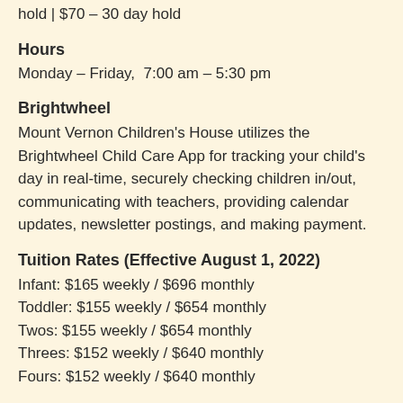hold | $70 – 30 day hold
Hours
Monday – Friday,  7:00 am – 5:30 pm
Brightwheel
Mount Vernon Children's House utilizes the Brightwheel Child Care App for tracking your child's day in real-time, securely checking children in/out, communicating with teachers, providing calendar updates, newsletter postings, and making payment.
Tuition Rates (Effective August 1, 2022)
Infant: $165 weekly / $696 monthly
Toddler: $155 weekly / $654 monthly
Twos: $155 weekly / $654 monthly
Threes: $152 weekly / $640 monthly
Fours: $152 weekly / $640 monthly
Mission